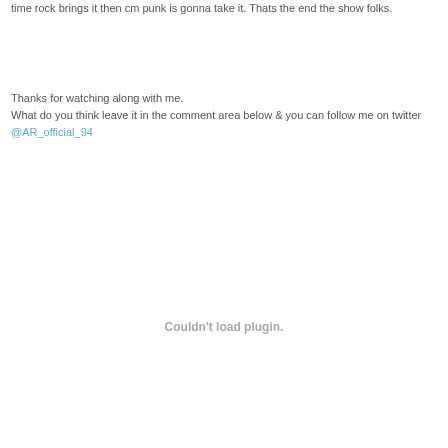time rock brings it then cm punk is gonna take it. Thats the end the show folks.
Thanks for watching along with me.
What do you think leave it in the comment area below & you can follow me on twitter @AR_official_94
Couldn't load plugin.